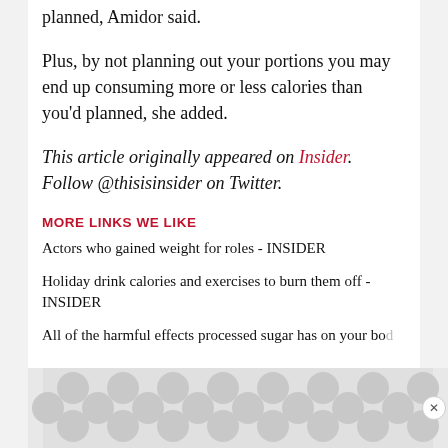planned, Amidor said.
Plus, by not planning out your portions you may end up consuming more or less calories than you'd planned, she added.
This article originally appeared on Insider. Follow @thisisinsider on Twitter.
MORE LINKS WE LIKE
Actors who gained weight for roles - INSIDER
Holiday drink calories and exercises to burn them off - INSIDER
All of the harmful effects processed sugar has on your bo...